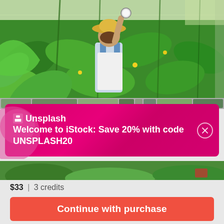[Figure (photo): Woman in straw hat and blue overalls tending plants in a lush green greenhouse, viewed from behind, reaching up among tall leafy plants]
[Figure (screenshot): Promotional banner overlay: Unsplash logo with text 'Welcome to iStock: Save 20% with code UNSPLASH20' on magenta/pink gradient background with close button]
$33 | 3 credits
Continue with purchase